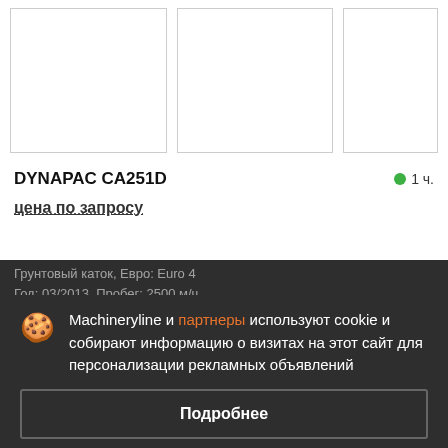[Figure (photo): Three product image placeholders side by side (white boxes with borders)]
DYNAPAC CA251D
1 ч.
цена по запросу
Грунтовый каток, Евро: Euro 4
Год: 03/2013, Пробег: 2500 м/ч
Китай
Machineryline и партнеры используют cookie и собирают информацию о визитах на этот сайт для персонализации рекламных объявлений
Подробнее
Согласиться и закрыть